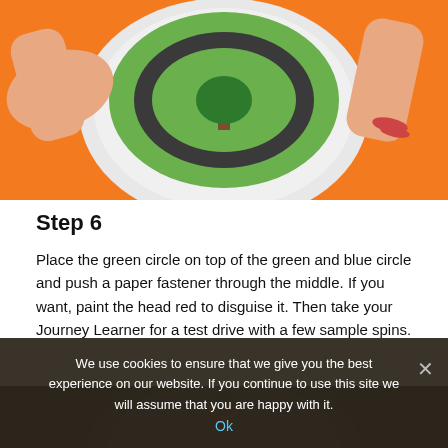[Figure (photo): Overhead view of hands holding a circular craft project on an orange background — a plate-like disc with a road and a green tree painted on it]
Step 6
Place the green circle on top of the green and blue circle and push a paper fastener through the middle. If you want, paint the head red to disguise it. Then take your Journey Learner for a test drive with a few sample spins.
Step 7
[Figure (photo): Partial view of the completed Journey Learner spinner, dark background]
We use cookies to ensure that we give you the best experience on our website. If you continue to use this site we will assume that you are happy with it.